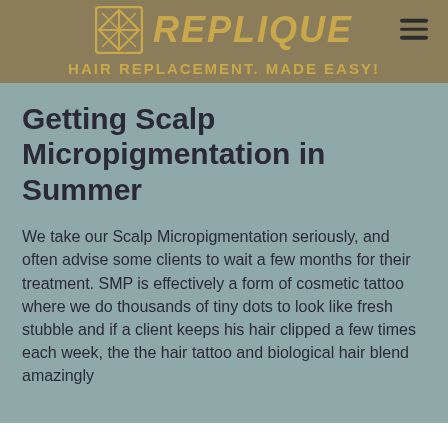REPLIQUE — HAIR REPLACEMENT. MADE EASY!
Getting Scalp Micropigmentation in Summer
We take our Scalp Micropigmentation seriously, and often advise some clients to wait a few months for their treatment. SMP is effectively a form of cosmetic tattoo where we do thousands of tiny dots to look like fresh stubble and if a client keeps his hair clipped a few times each week, the the hair tattoo and biological hair blend amazingly